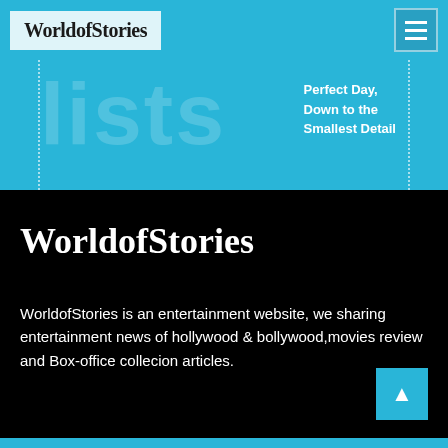WorldofStories
[Figure (screenshot): Hero banner with large semi-transparent text 'lists' and dotted border lines on left and right sides, on a cyan/teal background]
Perfect Day, Down to the Smallest Detail
WorldofStories
WorldofStories is an entertainment website, we sharing entertainment news of hollywood & bollywood,movies review and Box-office collecion articles.